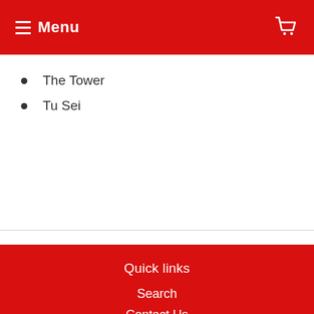Menu
The Tower
Tu Sei
Quick links
Search
Contact Us
Shipping Information
About Us